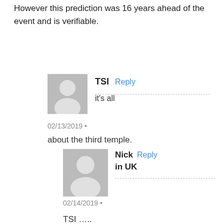However this prediction was 16 years ahead of the event and is verifiable.
TSI
Reply
it's all
02/13/2019 •
about the third temple.
Nick in UK
Reply
02/14/2019 •
TSI …..

Not a very informative reply is it ?